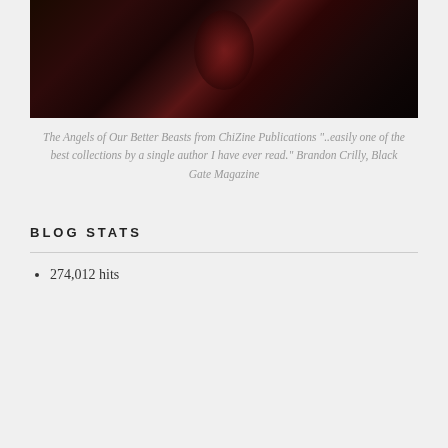[Figure (photo): Dark atmospheric book cover or promotional image for 'The Angels of Our Better Beasts' from ChiZine Publications, featuring dark tones with reddish center glow]
The Angels of Our Better Beasts from ChiZine Publications "..easily one of the best collections by a single author I have ever read." Brandon Crilly, Black Gate Magazine
BLOG STATS
274,012 hits